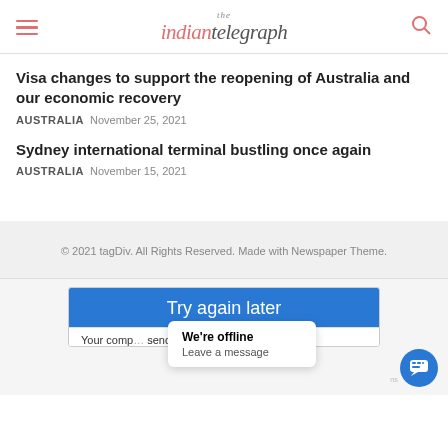the indian telegraph
Visa changes to support the reopening of Australia and our economic recovery
AUSTRALIA  November 25, 2021
Sydney international terminal bustling once again
AUSTRALIA  November 15, 2021
© 2021 tagDiv. All Rights Reserved. Made with Newspaper Theme.
[Figure (screenshot): A 'Try again later' dialog box with blue header, a 'We're offline / Leave a message' popup tooltip, and a blue chat button in the bottom right corner. Partial text reads 'Your comp... sending au...omated queries. To']